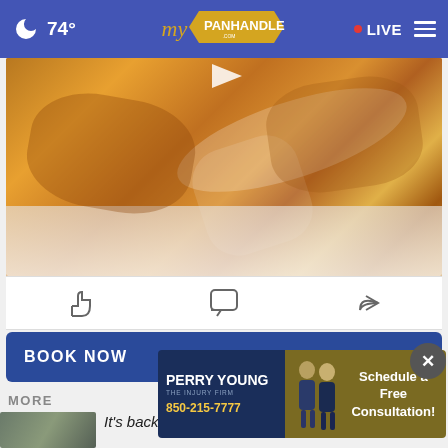74° myPanhandle.com • LIVE
[Figure (photo): Close-up food photo showing fried/crispy food items (possibly wontons or fried appetizers) on a white plate, with a play button overlay at top]
[Figure (infographic): Social interaction bar with thumbs up (like), comment bubble, and share/forward icons]
BOOK NOW >
MORE
[Figure (photo): Small thumbnail image at bottom left, appears to be a building/school photo]
It's back to school in Ukraine — but far
[Figure (infographic): Advertisement for Perry Young The Injury Firm, 850-215-7777, with two men in suits and text: Schedule a Free Consultation!]
[Figure (other): Close button (X) circle overlay]